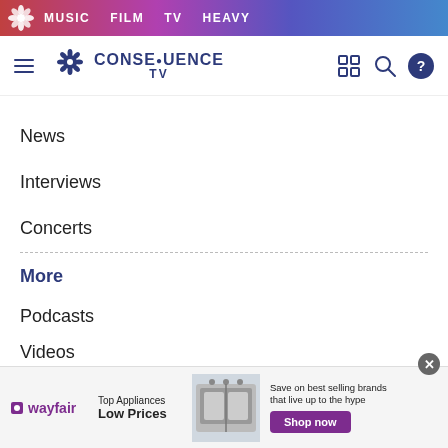MUSIC  FILM  TV  HEAVY
[Figure (logo): Consequence TV logo with hamburger menu and navigation icons]
News
Interviews
Concerts
More
Podcasts
Videos
Music Videos
Streaming
[Figure (screenshot): Wayfair advertisement banner: Top Appliances Low Prices, Save on best selling brands that live up to the hype, Shop now button]